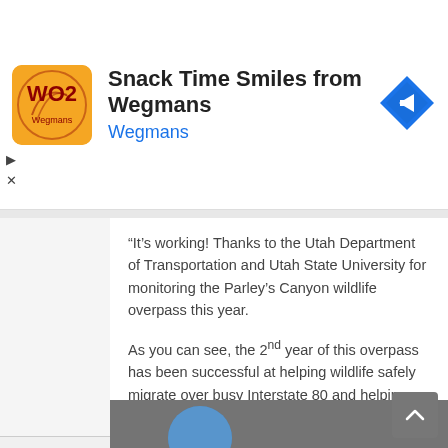[Figure (screenshot): Ad banner for 'Snack Time Smiles from Wegmans' by Wegmans, with orange logo, text, and blue navigation icon]
“It’s working! Thanks to the Utah Department of Transportation and Utah State University for monitoring the Parley’s Canyon wildlife overpass this year.

As you can see, the 2nd year of this overpass has been successful at helping wildlife safely migrate over busy Interstate 80 and helping motorists be much safer as well. Please keep off of this overpass. Thanks!"

Hopefully, this catches on in more areas! You have to love it. 😊
[Figure (photo): Partial photo at bottom of page showing a blue circular element against a grey/dark background]